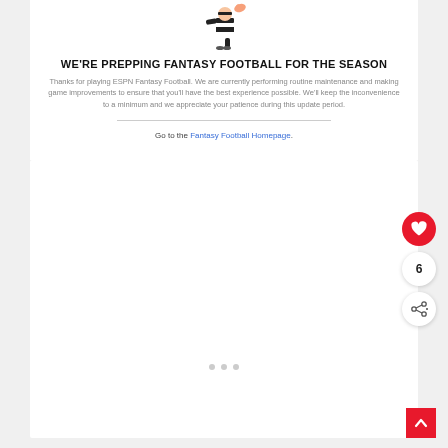[Figure (illustration): Referee or football official cartoon icon wearing black and white striped uniform with whistle]
WE'RE PREPPING FANTASY FOOTBALL FOR THE SEASON
Thanks for playing ESPN Fantasy Football. We are currently performing routine maintenance and making game improvements to ensure that you'll have the best experience possible. We'll keep the inconvenience to a minimum and we appreciate your patience during this update period.
Go to the Fantasy Football Homepage.
[Figure (screenshot): Large white content area with three navigation dots at the bottom, a red heart/like button, a count badge showing 6, a share button, and a red back-to-top arrow button in the lower right corner]